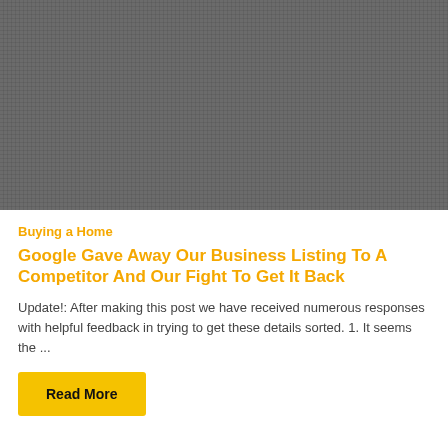[Figure (photo): Dark gray textured background image, appears to be a grid or mesh pattern]
Buying a Home
Google Gave Away Our Business Listing To A Competitor And Our Fight To Get It Back
Update!: After making this post we have received numerous responses with helpful feedback in trying to get these details sorted. 1. It seems the ...
Read More